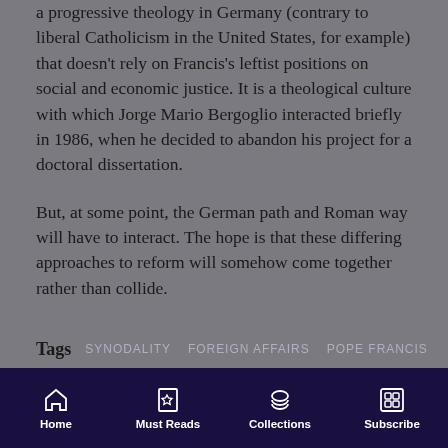a progressive theology in Germany (contrary to liberal Catholicism in the United States, for example) that doesn't rely on Francis's leftist positions on social and economic justice. It is a theological culture with which Jorge Mario Bergoglio interacted briefly in 1986, when he decided to abandon his project for a doctoral dissertation.
But, at some point, the German path and Roman way will have to interact. The hope is that these differing approaches to reform will somehow come together rather than collide.
Tags  SYNODALITY  FOREIGN AFFAIRS  POPE FRANCIS
Home  Must Reads  Collections  Subscribe